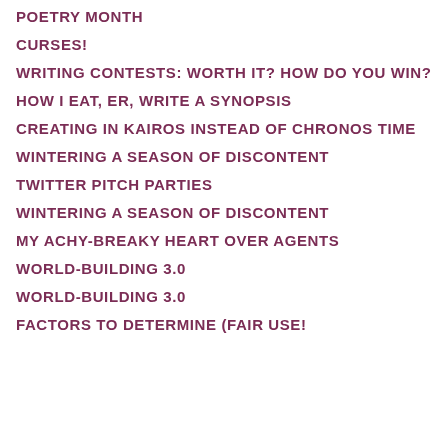POETRY MONTH
CURSES!
WRITING CONTESTS: WORTH IT? HOW DO YOU WIN?
HOW I EAT, ER, WRITE A SYNOPSIS
CREATING IN KAIROS INSTEAD OF CHRONOS TIME
WINTERING A SEASON OF DISCONTENT
TWITTER PITCH PARTIES
WINTERING A SEASON OF DISCONTENT
MY ACHY-BREAKY HEART OVER AGENTS
WORLD-BUILDING 3.0
WORLD-BUILDING 3.0
FACTORS TO DETERMINE (FAIR USE!